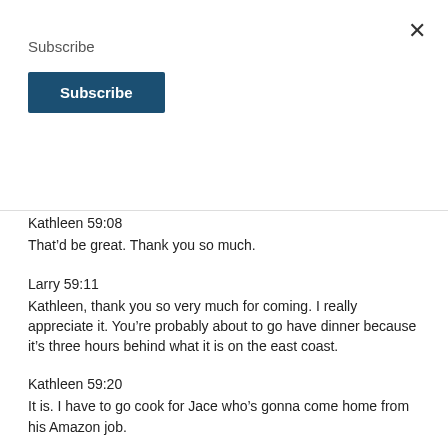Subscribe
Subscribe
what our experience is with these type of trials.
Kathleen 59:08
That'd be great. Thank you so much.
Larry 59:11
Kathleen, thank you so very much for coming. I really appreciate it. You're probably about to go have dinner because it's three hours behind what it is on the east coast.
Kathleen 59:20
It is. I have to go cook for Jace who's gonna come home from his Amazon job.